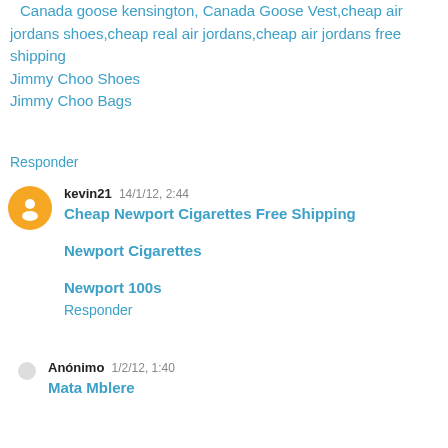Canada goose kensington, Canada Goose Vest,cheap air jordans shoes,cheap real air jordans,cheap air jordans free shipping
Jimmy Choo Shoes
Jimmy Choo Bags
Responder
kevin21  14/1/12, 2:44
Cheap Newport Cigarettes Free Shipping
Newport Cigarettes
Newport 100s
Responder
Anónimo  1/2/12, 1:40
Mata Mblere